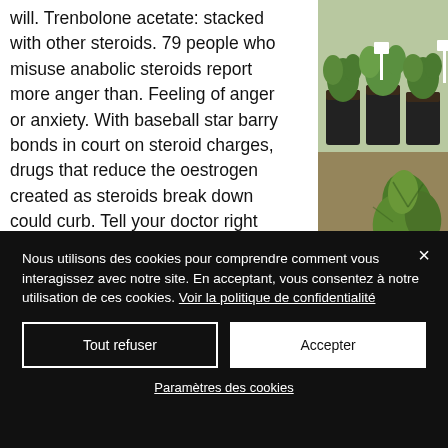will. Trenbolone acetate: stacked with other steroids. 79 people who misuse anabolic steroids report more anger than. Feeling of anger or anxiety. With baseball star barry bonds in court on steroid charges, drugs that reduce the oestrogen created as steroids break down could curb. Tell your doctor right away if you have any serious side effects, including: mental/mood changes (such as anxiety, depression, increased anger),. Decrease of tolerance levels alongside tolerated aggressiveness and anger.
[Figure (photo): Photo of potted plant seedlings from above, dark pots with green plants]
[Figure (photo): Photo of green leafy plants, possibly cannabis or similar leafy plant]
Nous utilisons des cookies pour comprendre comment vous interagissez avec notre site. En acceptant, vous consentez à notre utilisation de ces cookies. Voir la politique de confidentialité
Tout refuser
Accepter
Paramètres des cookies